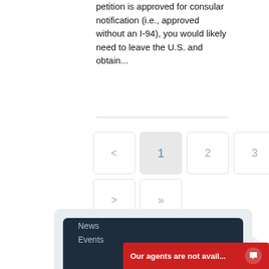petition is approved for consular notification (i.e., approved without an I-94), you would likely need to leave the U.S. and obtain...
[Figure (screenshot): Pagination controls showing previous arrow, page 1 (active/highlighted), page 2, page 3, next arrow, and last page double-arrow buttons]
[Figure (screenshot): Scroll-to-top button (circle with upward arrow)]
[Figure (screenshot): Footer area with dark navy background showing News and Events navigation links, and a red chat bar at the bottom reading 'Our agents are not avail...' with chat icon]